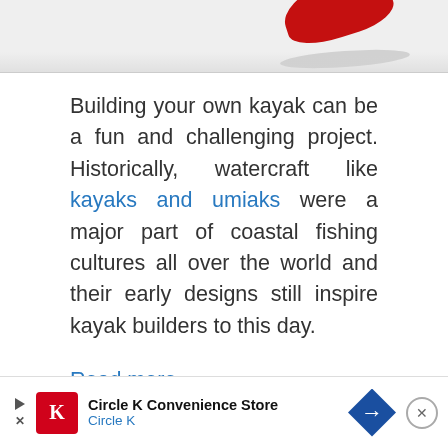[Figure (photo): Partial view of a red kayak on a light background, showing part of the bow.]
Building your own kayak can be a fun and challenging project. Historically, watercraft like kayaks and umiaks were a major part of coastal fishing cultures all over the world and their early designs still inspire kayak builders to this day.
Read more
Basic Kayaking Knowledge, Learn
[Figure (screenshot): Circle K Convenience Store advertisement banner at the bottom of the page.]